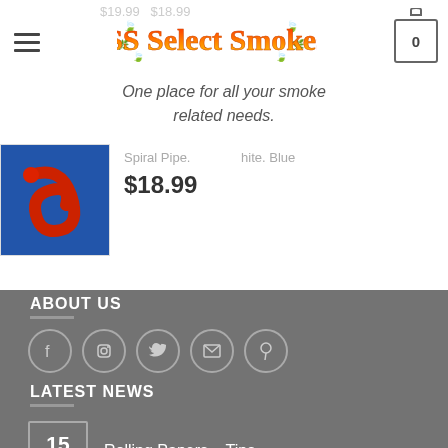[Figure (screenshot): Website header with hamburger menu, SS Select Smokes logo with cannabis leaf decoration, and shopping cart icon showing 0 items]
One place for all your smoke related needs.
[Figure (photo): Product image showing a red spiral glass pipe on blue background]
Spiral Pipe. White. Blue
$18.99
ABOUT US
[Figure (infographic): Social media icons: Facebook, Instagram, Twitter, Email, Pinterest in circular borders]
LATEST NEWS
15 Oct  Rolling Papers – Tips
15 Oct  Vaporizers